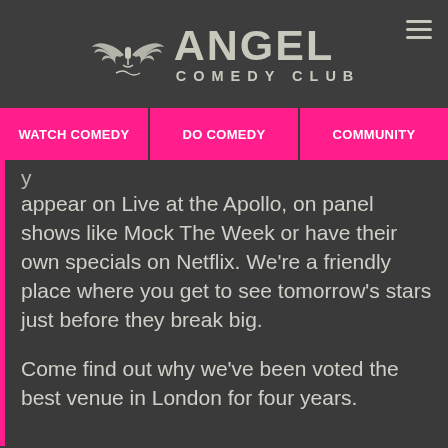[Figure (logo): Angel Comedy Club logo with wings icon, microphone, and stylized text]
WATCH COMEDY  DO COMEDY  COMMUNITY
appear on Live at the Apollo, on panel shows like Mock The Week or have their own specials on Netflix. We're a friendly place where you get to see tomorrow's stars just before they break big.
Come find out why we've been voted the best venue in London for four years.